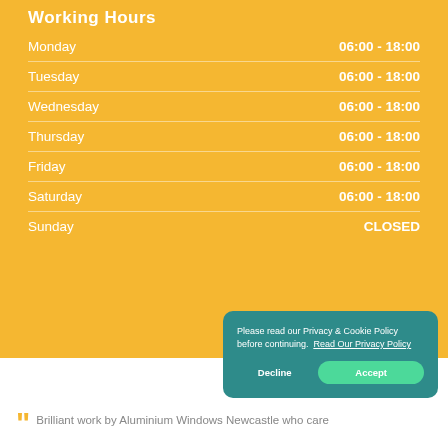Working Hours
| Day | Hours |
| --- | --- |
| Monday | 06:00 - 18:00 |
| Tuesday | 06:00 - 18:00 |
| Wednesday | 06:00 - 18:00 |
| Thursday | 06:00 - 18:00 |
| Friday | 06:00 - 18:00 |
| Saturday | 06:00 - 18:00 |
| Sunday | CLOSED |
Please read our Privacy & Cookie Policy before continuing. Read Our Privacy Policy
Decline
Accept
Brilliant work by Aluminium Windows Newcastle who care